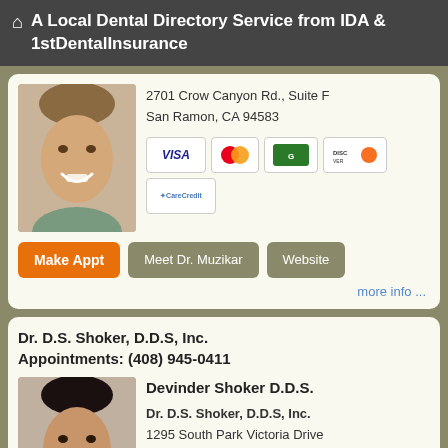A Local Dental Directory Service from IDA & 1stDentalInsurance
2701 Crow Canyon Rd., Suite F
San Ramon, CA 94583
[Figure (other): Payment method icons: VISA, MasterCard, Green card, Discover, CareCredit]
Make Appt | Meet Dr. Muzikar | Website
more info ...
Dr. D.S. Shoker, D.D.S, Inc.
Appointments: (408) 945-0411
[Figure (photo): Portrait photo of Dr. Devinder Shoker]
Devinder Shoker D.D.S.
Dr. D.S. Shoker, D.D.S, Inc.
1295 South Park Victoria Drive
Milpitas, CA 95035
[Figure (other): Payment method icons: VISA, MasterCard]